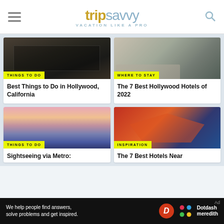tripsavvy VACATION LIKE A PRO
[Figure (photo): Interior of a Hollywood venue or restaurant, dark tones with modern architecture]
THINGS TO DO
Best Things to Do in Hollywood, California
[Figure (photo): Luxury hotel room interior with bedding and furniture in neutral tones]
WHERE TO STAY
The 7 Best Hollywood Hotels of 2022
[Figure (photo): Aerial sunset view of Los Angeles skyline with mountains in background]
THINGS TO DO
Sightseeing via Metro:
[Figure (photo): Transformers attraction building facade at Universal Studios Hollywood with dramatic mural artwork]
INSPIRATION
The 7 Best Hotels Near
We help people find answers, solve problems and get inspired.
[Figure (logo): Dotdash Meredith logo with D icon and colorful dots]